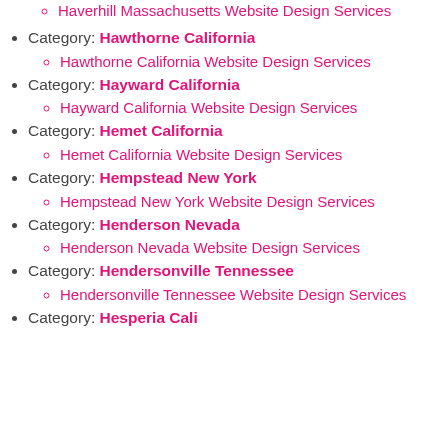Haverhill Massachusetts Website Design Services
Category: Hawthorne California
Hawthorne California Website Design Services
Category: Hayward California
Hayward California Website Design Services
Category: Hemet California
Hemet California Website Design Services
Category: Hempstead New York
Hempstead New York Website Design Services
Category: Henderson Nevada
Henderson Nevada Website Design Services
Category: Hendersonville Tennessee
Hendersonville Tennessee Website Design Services
Category: Hesperia California (partial)